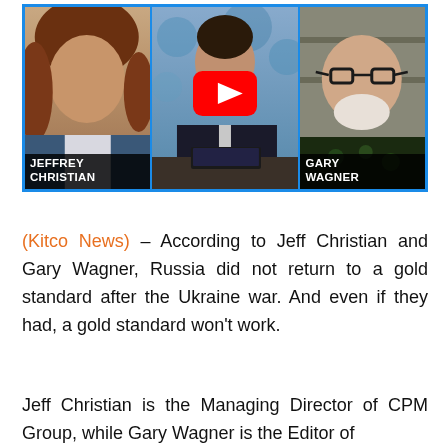[Figure (photo): YouTube video thumbnail showing three panels: left panel features Jeffrey Christian with name label, center panel shows a news anchor with a YouTube play button overlay, right panel features Gary Wagner with name label. The thumbnail has a blue border.]
(Kitco News) – According to Jeff Christian and Gary Wagner, Russia did not return to a gold standard after the Ukraine war. And even if they had, a gold standard won't work.
Jeff Christian is the Managing Director of CPM Group, while Gary Wagner is the Editor of